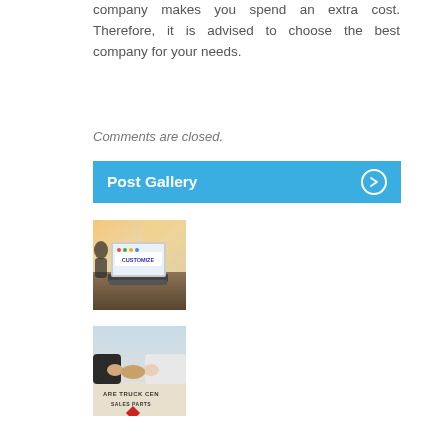company makes you spend an extra cost. Therefore, it is advised to choose the best company for your needs.
Comments are closed.
Post Gallery
[Figure (photo): Laptop on desk showing CUSTOMIZE text on screen, with person in background]
[Figure (photo): Two people shaking hands in front of a sign reading ARE TRUCK CEN... SALES PARTS with a logo]